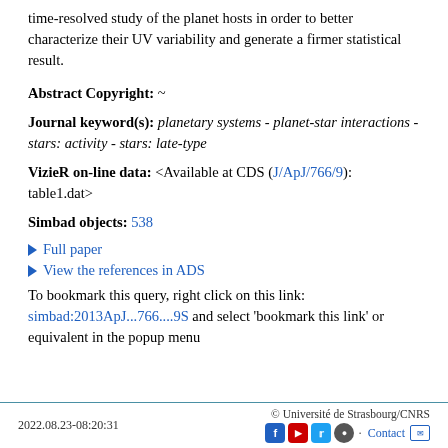time-resolved study of the planet hosts in order to better characterize their UV variability and generate a firmer statistical result.
Abstract Copyright: ~
Journal keyword(s): planetary systems - planet-star interactions - stars: activity - stars: late-type
VizieR on-line data: <Available at CDS (J/ApJ/766/9): table1.dat>
Simbad objects: 538
Full paper
View the references in ADS
To bookmark this query, right click on this link: simbad:2013ApJ...766....9S and select 'bookmark this link' or equivalent in the popup menu
2022.08.23-08:20:31   © Université de Strasbourg/CNRS   Contact